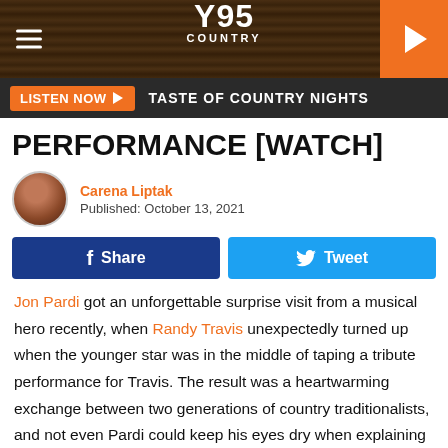[Figure (other): Y95 Country radio website header with wood-plank texture background, hamburger menu icon on left, Y95 COUNTRY logo in center, orange play button on right]
LISTEN NOW ▶  TASTE OF COUNTRY NIGHTS
PERFORMANCE [WATCH]
Carena Liptak
Published: October 13, 2021
Jon Pardi got an unforgettable surprise visit from a musical hero recently, when Randy Travis unexpectedly turned up when the younger star was in the middle of taping a tribute performance for Travis. The result was a heartwarming exchange between two generations of country traditionalists, and not even Pardi could keep his eyes dry when explaining what Travis' music meant to him and his family.